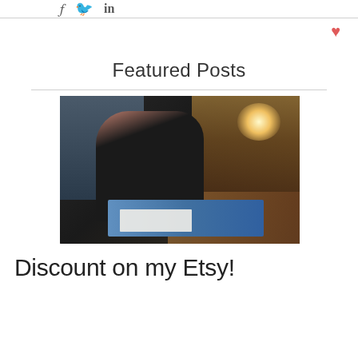[Figure (other): Social media icons (Facebook, Twitter, LinkedIn) at the top]
[Figure (other): Heart/like icon on the right side]
Featured Posts
[Figure (photo): Photo of a woman with glasses leaning over a blue cutting mat/table in an art studio, working with prints. Shelves with artwork visible in the background on the left, warm lighting on the right side.]
Discount on my Etsy!